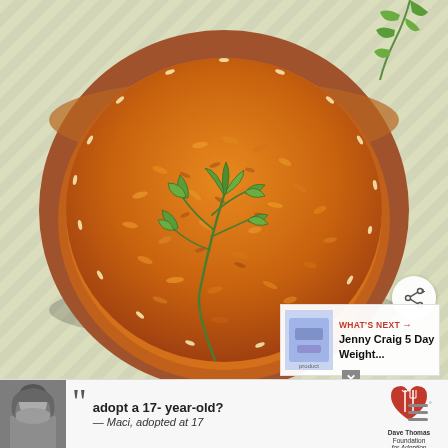[Figure (photo): Overhead view of Mexican-style tomato rice in a round terracotta bowl garnished with a sprig of fresh cilantro, set on a patterned cloth background with additional cilantro visible.]
[Figure (infographic): Share button: circular white button with share icon (connected dots) in lower right of main photo.]
[Figure (infographic): What's Next panel: white box with product image thumbnail, red WHAT'S NEXT label with arrow, and bold text 'Jenny Craig 5 Day Weight...']
[Figure (infographic): Advertisement banner at bottom: black-and-white photo of young woman with large quotation marks, text 'adopt a 17-year-old? — Maci, adopted at 17', Dave Thomas Foundation for Adoption logo, and close button X.]
[Figure (other): Menu or more-options icon (three horizontal bars with degree symbol) in bottom right corner.]